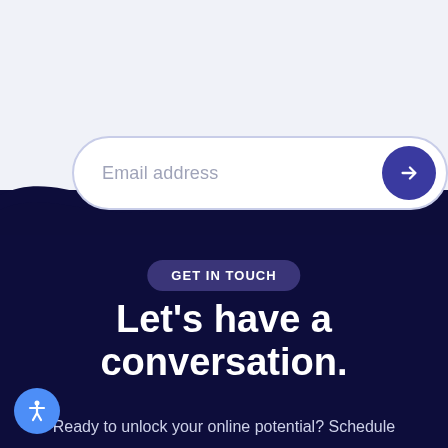[Figure (infographic): Email input bar with placeholder text 'Email address' and a dark blue circular arrow button on the right, on a light blue-gray background]
[Figure (infographic): Wave divider separating light section from dark navy section]
GET IN TOUCH
Let's have a conversation.
Ready to unlock your online potential? Schedule